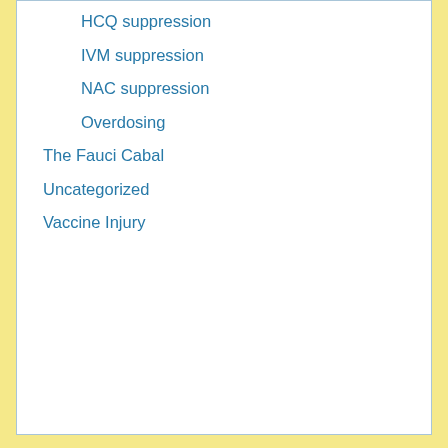HCQ suppression
IVM suppression
NAC suppression
Overdosing
The Fauci Cabal
Uncategorized
Vaccine Injury
RECENT ARTICLES
I will be giving a 20 min. presentation for the World Council for Health on Monday at 2:15pm EDT
I wrote this 3 months ago to stop the FDA/CDC from vaccinating babies and preschoolers. At the VRBPAC meeting the last two days, the members and briefers confirmed that I was spot on in my arguments.
My live blog of the disheartening FDA VRBPAC meeting today. I